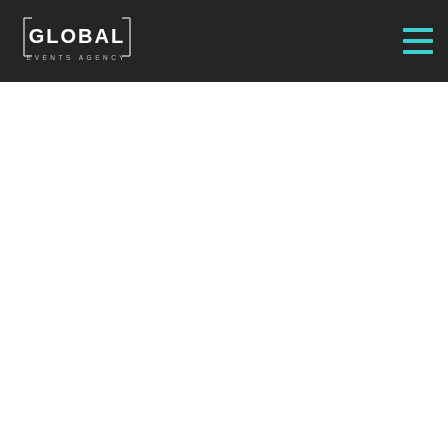GLOBAL EVENTS AGENCY
[Figure (logo): Global Events Agency logo — bracket-framed word GLOBAL in white with EVENTS AGENCY below in spaced white letters on dark background]
[Figure (other): Hamburger menu icon — three horizontal teal/cyan lines stacked vertically on dark background]